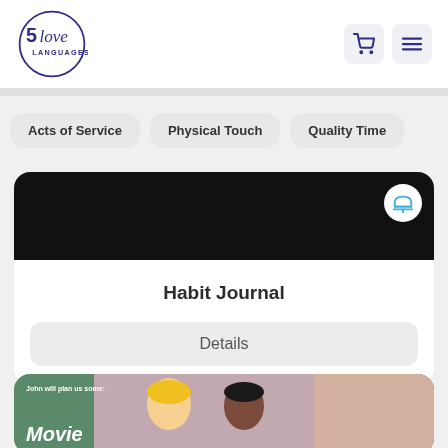[Figure (logo): 5 Love Languages logo with circle and script text]
Acts of Service
Physical Touch
Quality Time
[Figure (photo): Dark black product image strip with a service bell icon in top-right corner]
Habit Journal
Details
[Figure (photo): Movie-themed product card with cartoon illustrated characters and text reading Movie]